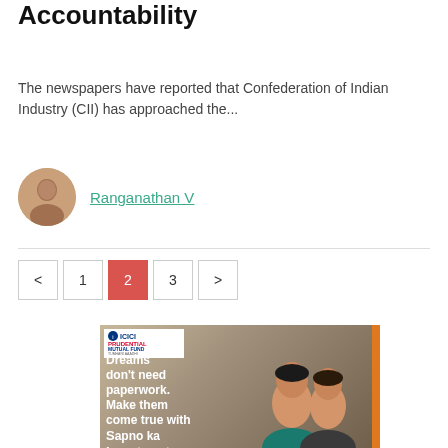Accountability
The newspapers have reported that Confederation of Indian Industry (CII) has approached the...
Ranganathan V
< 1 2 3 >
[Figure (photo): ICICI Prudential Mutual Fund advertisement showing a couple smiling with text 'Dreams don't need paperwork. Make them come true with Sapno ka Investment']